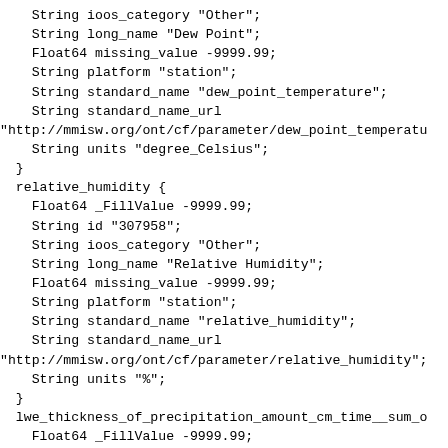String ioos_category "Other";
    String long_name "Dew Point";
    Float64 missing_value -9999.99;
    String platform "station";
    String standard_name "dew_point_temperature";
    String standard_name_url
"http://mmisw.org/ont/cf/parameter/dew_point_temperatu
    String units "degree_Celsius";
  }
  relative_humidity {
    Float64 _FillValue -9999.99;
    String id "307958";
    String ioos_category "Other";
    String long_name "Relative Humidity";
    Float64 missing_value -9999.99;
    String platform "station";
    String standard_name "relative_humidity";
    String standard_name_url
"http://mmisw.org/ont/cf/parameter/relative_humidity";
    String units "%";
  }
  lwe_thickness_of_precipitation_amount_cm_time__sum_o
    Float64 _FillValue -9999.99;
    String cell_methods "time: sum (interval: 10 minut
    String id "477273";
    String ioos_category "Other";